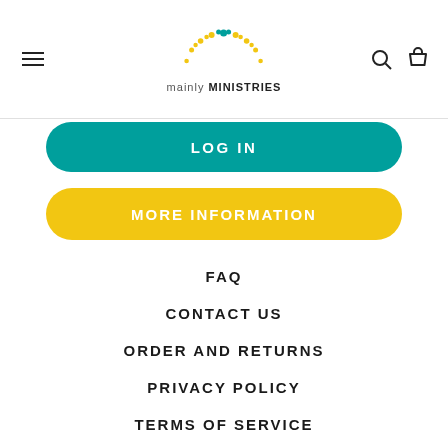mainly MINISTRIES
LOG IN
MORE INFORMATION
FAQ
CONTACT US
ORDER AND RETURNS
PRIVACY POLICY
TERMS OF SERVICE
SEARCH
COVID PRINCIPLES